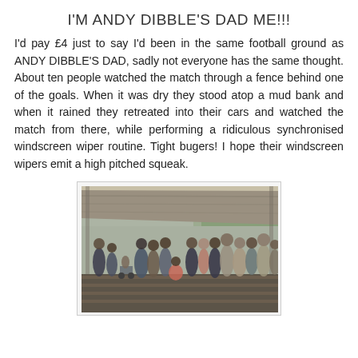I'M ANDY DIBBLE'S DAD ME!!!
I'd pay £4 just to say I'd been in the same football ground as ANDY DIBBLE'S DAD, sadly not everyone has the same thought. About ten people watched the match through a fence behind one of the goals. When it was dry they stood atop a mud bank and when it rained they retreated into their cars and watched the match from there, while performing a ridiculous synchronised windscreen wiper routine. Tight bugers! I hope their windscreen wipers emit a high pitched squeak.
[Figure (photo): Photo of a group of people standing and sitting on stepped terracing under a covered steel-roofed grandstand shelter at a football ground, with green trees visible in the background.]